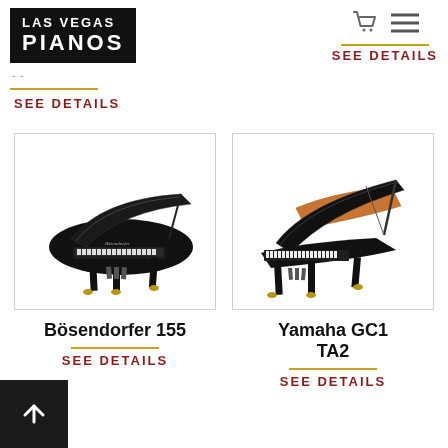[Figure (logo): Las Vegas Pianos logo in black box with white text]
[Figure (other): Shopping cart icon and hamburger menu icon]
SEE DETAILS
SEE DETAILS
[Figure (photo): Black grand piano (Bösendorfer 155) with lid open, side view on white background]
[Figure (photo): Black grand piano (Yamaha GC1 TA2) with lid open, showing interior wood, three-quarter view on white background]
Bösendorfer 155
Yamaha GC1 TA2
SEE DETAILS
SEE DETAILS
[Figure (other): Dark back-to-top arrow button in bottom left corner]